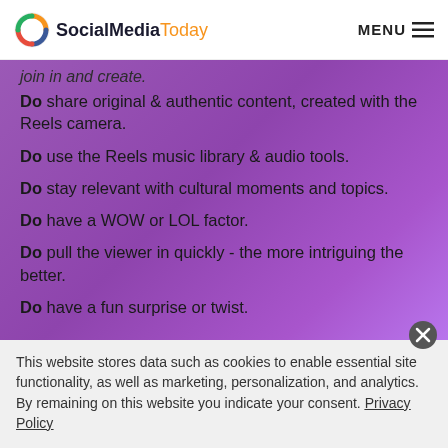SocialMediaToday | MENU
join in and create.
Do share original & authentic content, created with the Reels camera.
Do use the Reels music library & audio tools.
Do stay relevant with cultural moments and topics.
Do have a WOW or LOL factor.
Do pull the viewer in quickly - the more intriguing the better.
Do have a fun surprise or twist.
This website stores data such as cookies to enable essential site functionality, as well as marketing, personalization, and analytics. By remaining on this website you indicate your consent. Privacy Policy